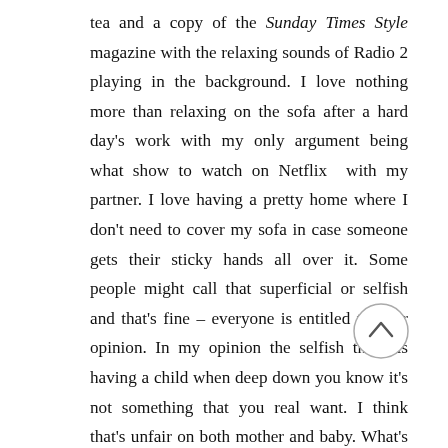tea and a copy of the Sunday Times Style magazine with the relaxing sounds of Radio 2 playing in the background. I love nothing more than relaxing on the sofa after a hard day's work with my only argument being what show to watch on Netflix  with my partner. I love having a pretty home where I don't need to cover my sofa in case someone gets their sticky hands all over it. Some people might call that superficial or selfish and that's fine – everyone is entitled to their opinion. In my opinion the selfish thing is having a child when deep down you know it's not something that you really want. I think that's unfair on both mother and baby. What's more, even with the best parenting, it's a gamble how the child will turn out, so for me a quality of life, a happy
[Figure (other): A circular scroll-to-top button with an upward-pointing chevron (caret) icon]